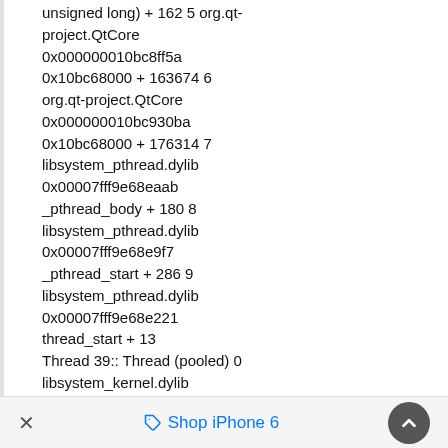unsigned long) + 162 5 org.qt-project.QtCore 0x000000010bc8ff5a 0x10bc68000 + 163674 6 org.qt-project.QtCore 0x000000010bc930ba 0x10bc68000 + 176314 7 libsystem_pthread.dylib 0x00007fff9e68eaab _pthread_body + 180 8 libsystem_pthread.dylib 0x00007fff9e68e9f7 _pthread_start + 286 9 libsystem_pthread.dylib 0x00007fff9e68e221 thread_start + 13 Thread 39:: Thread (pooled) 0 libsystem_kernel.dylib
× Shop iPhone 6 ^